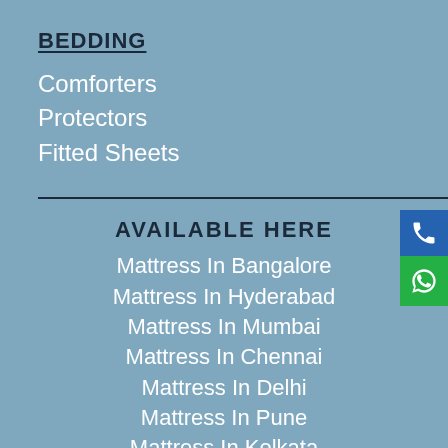BEDDING
Comforters
Protectors
Fitted Sheets
AVAILABLE HERE
Mattress In Bangalore
Mattress In Hyderabad
Mattress In Mumbai
Mattress In Chennai
Mattress In Delhi
Mattress In Pune
Mattress In Kolkata
Mattress in Ahmedabad